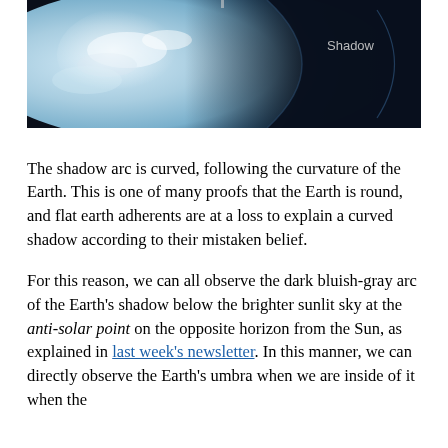[Figure (photo): Photo showing the Earth partially lit and partially in shadow. The dark shadow arc is visible on the right side labeled 'Shadow'. The left side shows the blue and white sunlit Earth surface.]
The shadow arc is curved, following the curvature of the Earth. This is one of many proofs that the Earth is round, and flat earth adherents are at a loss to explain a curved shadow according to their mistaken belief.
For this reason, we can all observe the dark bluish-gray arc of the Earth's shadow below the brighter sunlit sky at the anti-solar point on the opposite horizon from the Sun, as explained in last week's newsletter. In this manner, we can directly observe the Earth's umbra when we are inside of it when the